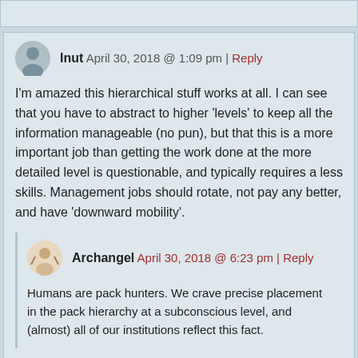Inut   April 30, 2018 @ 1:09 pm | Reply
I'm amazed this hierarchical stuff works at all. I can see that you have to abstract to higher 'levels' to keep all the information manageable (no pun), but that this is a more important job than getting the work done at the more detailed level is questionable, and typically requires a less skills. Management jobs should rotate, not pay any better, and have 'downward mobility'.
Archangel   April 30, 2018 @ 6:23 pm | Reply
Humans are pack hunters. We crave precise placement in the pack hierarchy at a subconscious level, and (almost) all of our institutions reflect this fact.